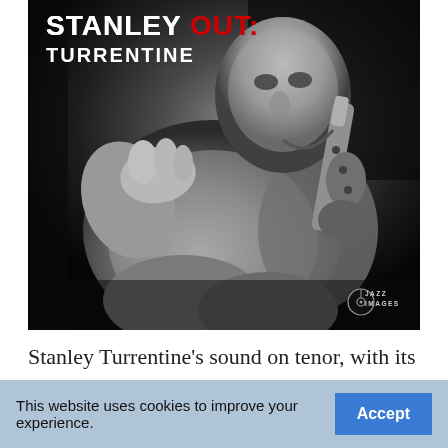[Figure (photo): Black and white album cover photo of Stanley Turrentine seated, holding a saxophone, with album title 'STANLEY OUT: TURRENTINE' overlaid in white and red text. Jazz Images watermark in bottom right.]
Stanley Turrentine’s sound on tenor, with its strong
This website uses cookies to improve your experience.